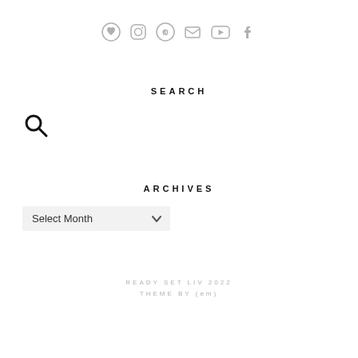[Figure (infographic): Row of 6 social media icons (heart/bloglovin, instagram, pinterest, email, youtube, facebook) in gray]
SEARCH
[Figure (illustration): Search magnifying glass icon]
ARCHIVES
Select Month (dropdown)
READY SET LIV 2022
THEME BY (em)